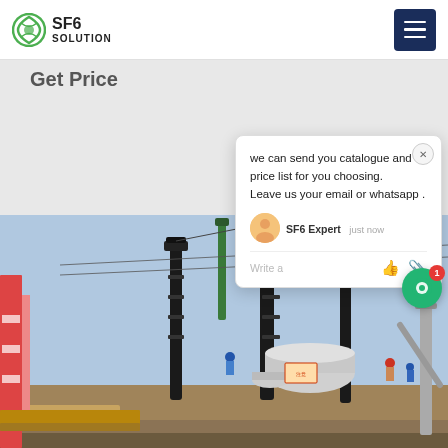SF6 SOLUTION
Get Price
[Figure (photo): Industrial electrical substation with tall black insulators/bushings, workers in blue hard hats, large cylindrical equipment, power lines, and construction materials in the foreground.]
we can send you catalogue and price list for you choosing.
Leave us your email or whatsapp .

SF6 Expert   just now
Write a